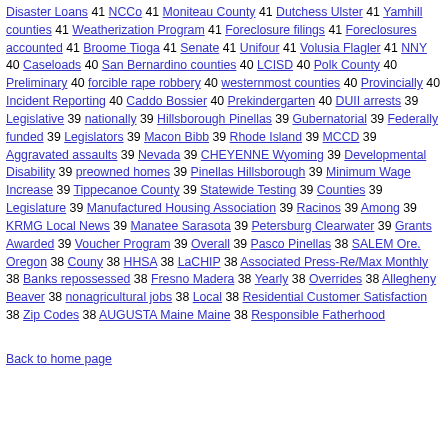Disaster Loans 41 NCCo 41 Moniteau County 41 Dutchess Ulster 41 Yamhill counties 41 Weatherization Program 41 Foreclosure filings 41 Foreclosures accounted 41 Broome Tioga 41 Senate 41 Unifour 41 Volusia Flagler 41 NNY 40 Caseloads 40 San Bernardino counties 40 LCISD 40 Polk County 40 Preliminary 40 forcible rape robbery 40 westernmost counties 40 Provincially 40 Incident Reporting 40 Caddo Bossier 40 Prekindergarten 40 DUII arrests 39 Legislative 39 nationally 39 Hillsborough Pinellas 39 Gubernatorial 39 Federally funded 39 Legislators 39 Macon Bibb 39 Rhode Island 39 MCCD 39 Aggravated assaults 39 Nevada 39 CHEYENNE Wyoming 39 Developmental Disability 39 preowned homes 39 Pinellas Hillsborough 39 Minimum Wage Increase 39 Tippecanoe County 39 Statewide Testing 39 Counties 39 Legislature 39 Manufactured Housing Association 39 Racinos 39 Among 39 KRMG Local News 39 Manatee Sarasota 39 Petersburg Clearwater 39 Grants Awarded 39 Voucher Program 39 Overall 39 Pasco Pinellas 38 SALEM Ore. Oregon 38 Couny 38 HHSA 38 LaCHIP 38 Associated Press-Re/Max Monthly 38 Banks repossessed 38 Fresno Madera 38 Yearly 38 Overrides 38 Allegheny Beaver 38 nonagricultural jobs 38 Local 38 Residential Customer Satisfaction 38 Zip Codes 38 AUGUSTA Maine Maine 38 Responsible Fatherhood
Back to home page